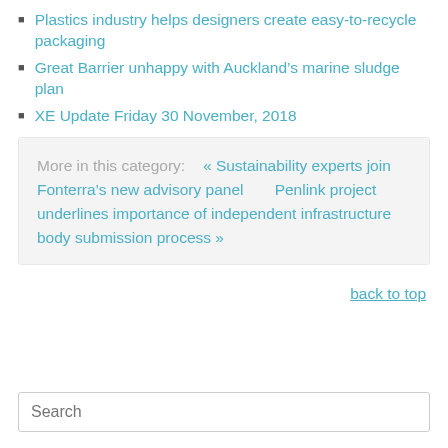Plastics industry helps designers create easy-to-recycle packaging
Great Barrier unhappy with Auckland's marine sludge plan
XE Update Friday 30 November, 2018
More in this category:   « Sustainability experts join Fonterra's new advisory panel       Penlink project underlines importance of independent infrastructure body submission process »
back to top
Search